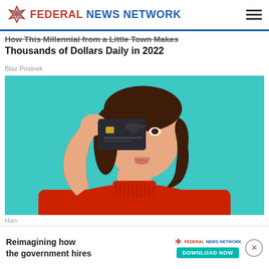Federal News Network
How This Millennial from a Little Town Makes Thousands of Dollars Daily in 2022
Blaz Posinek
[Figure (photo): Young woman with short brown hair holding a dark credit card over one eye, wearing a red ribbed turtleneck sweater, against a teal/turquoise background]
Han
Com
[Figure (infographic): Advertisement banner: Reimagining how the government hires — Federal News Network — DOWNLOAD NOW button, with a close X button]